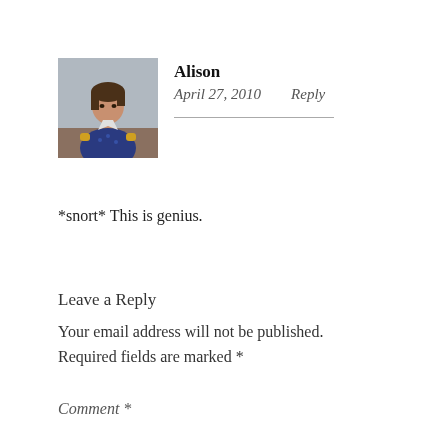[Figure (photo): Small square avatar photo of a woman named Alison, wearing a blue patterned top, in an indoor setting.]
Alison
April 27, 2010   Reply
*snort* This is genius.
Leave a Reply
Your email address will not be published. Required fields are marked *
Comment *